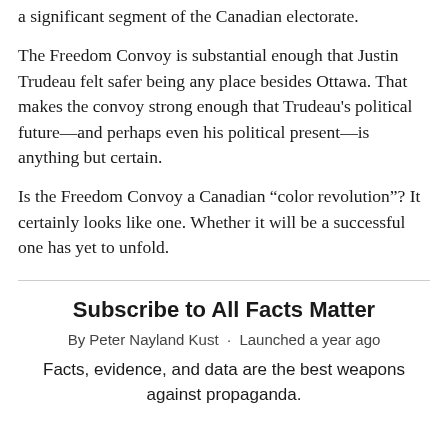a significant segment of the Canadian electorate.
The Freedom Convoy is substantial enough that Justin Trudeau felt safer being any place besides Ottawa. That makes the convoy strong enough that Trudeau's political future—and perhaps even his political present—is anything but certain.
Is the Freedom Convoy a Canadian “color revolution”? It certainly looks like one. Whether it will be a successful one has yet to unfold.
Subscribe to All Facts Matter
By Peter Nayland Kust · Launched a year ago
Facts, evidence, and data are the best weapons against propaganda.